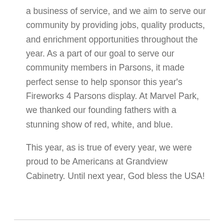a business of service, and we aim to serve our community by providing jobs, quality products, and enrichment opportunities throughout the year. As a part of our goal to serve our community members in Parsons, it made perfect sense to help sponsor this year's Fireworks 4 Parsons display. At Marvel Park, we thanked our founding fathers with a stunning show of red, white, and blue.
This year, as is true of every year, we were proud to be Americans at Grandview Cabinetry. Until next year, God bless the USA!